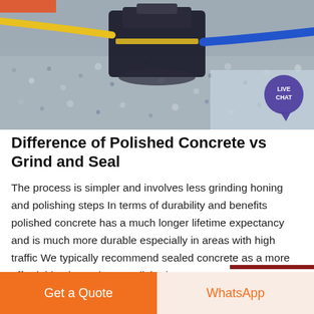[Figure (photo): Industrial concrete grinding/polishing machine working on a grey concrete floor surface with blue and yellow hoses attached, viewed from above.]
Difference of Polished Concrete vs Grind and Seal
The process is simpler and involves less grinding honing and polishing steps In terms of durability and benefits polished concrete has a much longer lifetime expectancy and is much more durable especially in areas with high traffic We typically recommend sealed concrete as a more affordable alternative to polished concrete.